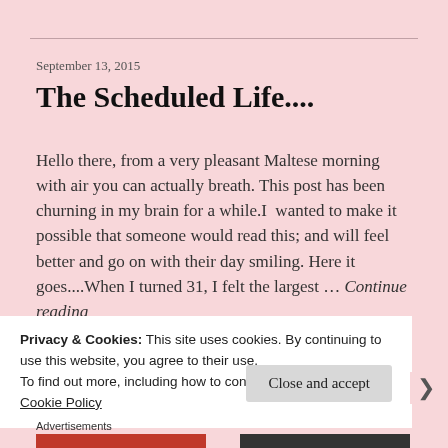September 13, 2015
The Scheduled Life....
Hello there, from a very pleasant Maltese morning with air you can actually breath. This post has been churning in my brain for a while.I  wanted to make it possible that someone would read this; and will feel better and go on with their day smiling. Here it goes....When I turned 31, I felt the largest … Continue reading
Privacy & Cookies: This site uses cookies. By continuing to use this website, you agree to their use.
To find out more, including how to control cookies, see here:
Cookie Policy
Close and accept
Advertisements